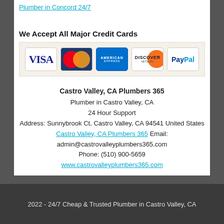Plumber in Concord 24/7
We Accept All Major Credit Cards
[Figure (illustration): Payment logos: Visa, MasterCard, American Express, Discover, PayPal]
Castro Valley, CA Plumbers 365
Plumber in Castro Valley, CA
24 Hour Support
Address: Sunnybrook Ct, Castro Valley, CA 94541 United States
Castro Valley, CA Plumbers 365 Email: admin@castrovalleyplumbers365.com
Phone: (510) 900-5659
www.castrovalleyplumbers365.com
2022 - 24/7 Cheap & Trusted Plumber in Castro Valley, CA